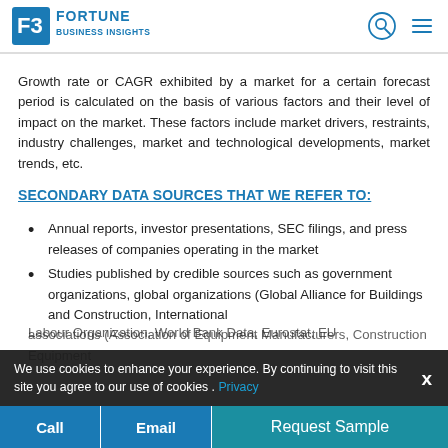Fortune Business Insights
Growth rate or CAGR exhibited by a market for a certain forecast period is calculated on the basis of various factors and their level of impact on the market. These factors include market drivers, restraints, industry challenges, market and technological developments, market trends, etc.
SECONDARY DATA SOURCES THAT WE REFER TO:
Annual reports, investor presentations, SEC filings, and press releases of companies operating in the market
Studies published by credible sources such as government organizations, global organizations (Global Alliance for Buildings and Construction, International Labour Organization, World Bank Data, Eurostat, EU associations (Association of Equipment Manufacturers, Construction Equipment
We use cookies to enhance your experience. By continuing to visit this site you agree to our use of cookies . Privacy
Call  Email  Request Sample